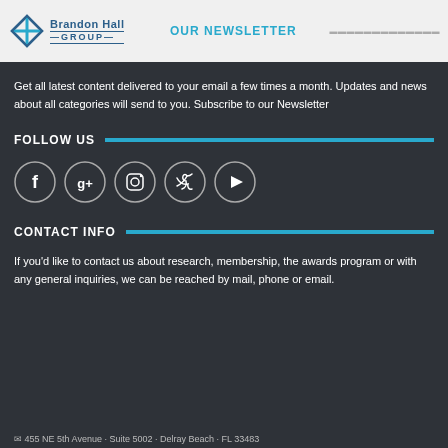Brandon Hall GROUP | OUR NEWSLETTER
Get all latest content delivered to your email a few times a month. Updates and news about all categories will send to you. Subscribe to our Newsletter
FOLLOW US
[Figure (illustration): Five social media icons in circles: Facebook, Google+, Instagram, Twitter, YouTube]
CONTACT INFO
If you'd like to contact us about research, membership, the awards program or with any general inquiries, we can be reached by mail, phone or email.